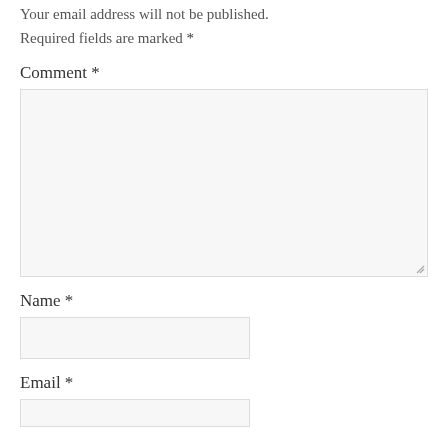Your email address will not be published.
Required fields are marked *
Comment *
[Figure (other): Large comment textarea input box with resize handle in bottom-right corner]
Name *
[Figure (other): Name text input field box]
Email *
[Figure (other): Email text input field box (partially visible)]